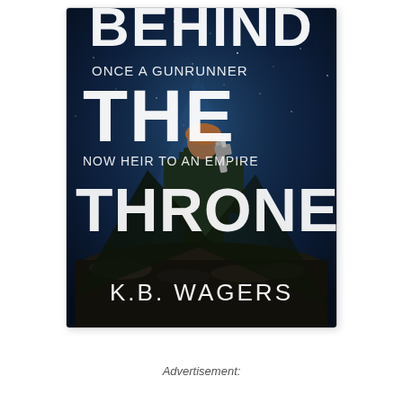[Figure (illustration): Book cover for 'Behind the Throne' by K.B. Wagers. Dark sci-fi cover showing a figure in dark clothing holding a gun against a starry night sky background. Text reads: 'BEHIND THE THRONE', 'ONCE A GUNRUNNER', 'NOW HEIR TO AN EMPIRE', 'K.B. WAGERS']
Advertisement: